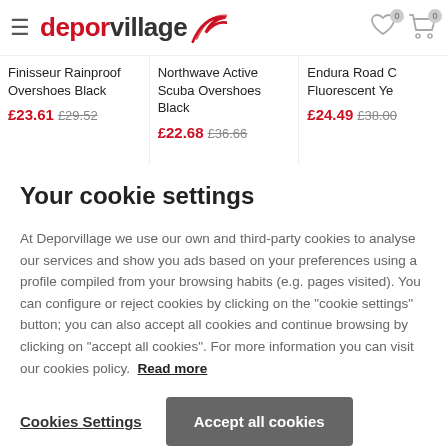[Figure (logo): Deporvillage logo with red swoosh and text]
Finisseur Rainproof Overshoes Black £23.61 £29.52
Northwave Active Scuba Overshoes Black £22.68 £36.66
Endura Road Fluorescent Ye £24.49 £38.00
Your cookie settings
At Deporvillage we use our own and third-party cookies to analyse our services and show you ads based on your preferences using a profile compiled from your browsing habits (e.g. pages visited). You can configure or reject cookies by clicking on the "cookie settings" button; you can also accept all cookies and continue browsing by clicking on "accept all cookies". For more information you can visit our cookies policy. Read more
Cookies Settings
Accept all cookies